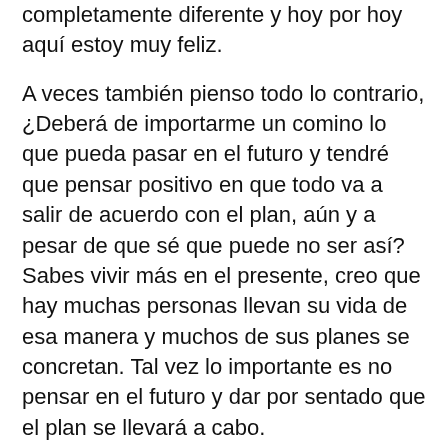completamente diferente y hoy por hoy aquí estoy muy feliz.
A veces también pienso todo lo contrario, ¿Deberá de importarme un comino lo que pueda pasar en el futuro y tendré que pensar positivo en que todo va a salir de acuerdo con el plan, aún y a pesar de que sé que puede no ser así? Sabes vivir más en el presente, creo que hay muchas personas llevan su vida de esa manera y muchos de sus planes se concretan. Tal vez lo importante es no pensar en el futuro y dar por sentado que el plan se llevará a cabo.
¿Cómo podemos saber hasta dónde vale la pena planear? Nadie sabe y es difícil averiguarlo.
Con el afán de ir descifrando este misterio he